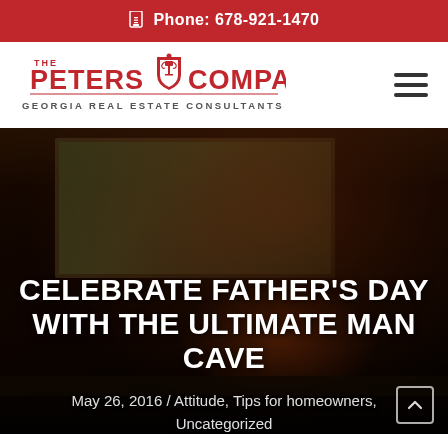Phone: 678-921-1470
[Figure (logo): The Peters Company – Georgia Real Estate Consultants logo with red text and trophy/shield emblem]
CELEBRATE FATHER'S DAY WITH THE ULTIMATE MAN CAVE
May 26, 2016 / Attitude, Tips for homeowners, Uncategorized